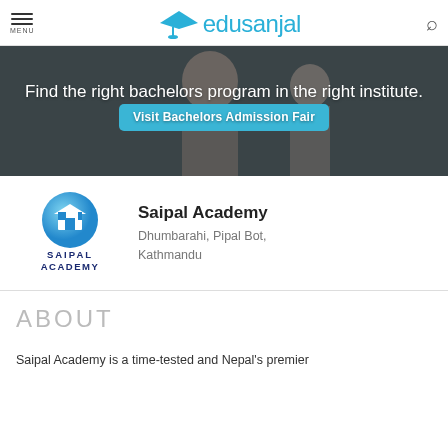edusanjal
[Figure (photo): Banner image with students in background, text: Find the right bachelors program in the right institute. Button: Visit Bachelors Admission Fair]
[Figure (logo): Saipal Academy logo — blue globe with building icon and text SAIPAL ACADEMY]
Saipal Academy
Dhumbarahi, Pipal Bot, Kathmandu
ABOUT
Saipal Academy is a time-tested and Nepal's premier